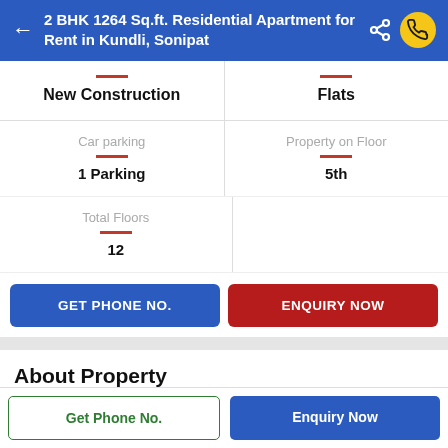2 BHK 1264 Sq.ft. Residential Apartment for Rent in Kundli, Sonipat
| New Construction | Flats |
| --- | --- |
| Car parking | Property on Floor |
| --- | --- |
| 1 Parking | 5th |
| Total Floors |
| --- |
| 12 |
GET PHONE NO.
ENQUIRY NOW
About Property
Get Phone No.
Enquiry Now